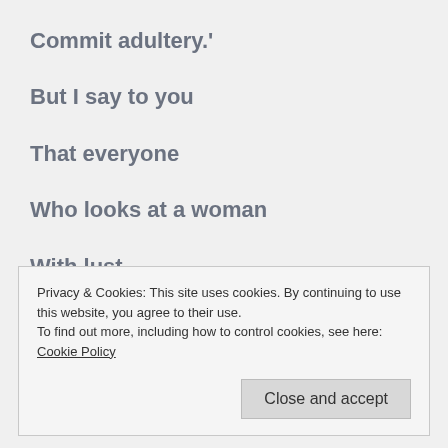Commit adultery.'
But I say to you
That everyone
Who looks at a woman
With lust
Privacy & Cookies: This site uses cookies. By continuing to use this website, you agree to their use.
To find out more, including how to control cookies, see here: Cookie Policy